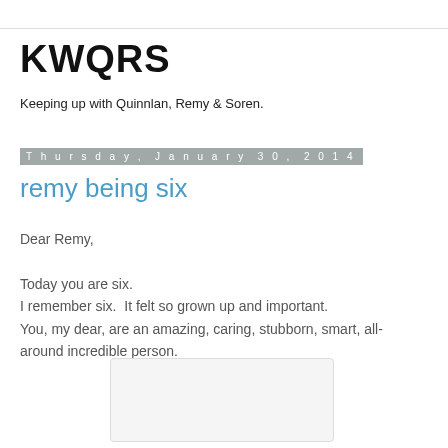KWQRS
Keeping up with Quinnlan, Remy & Soren.
Thursday, January 30, 2014
remy being six
Dear Remy,

Today you are six.
I remember six.  It felt so grown up and important.
You, my dear, are an amazing, caring, stubborn, smart, all-around incredible person.
[Figure (photo): Blank image placeholder area]